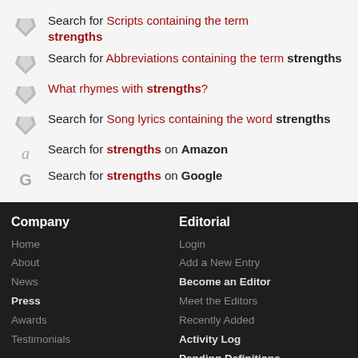Search for Scripts containing the term strengths
Search for Abbreviations containing the term strengths
What rhymes with strengths?
Search for Song lyrics containing the word strengths
Search for strengths on Amazon
Search for strengths on Google
Company
Home
About
News
Press
Awards
Testimonials
Editorial
Login
Add a New Entry
Become an Editor
Meet the Editors
Recently Added
Activity Log
Pending Definitions